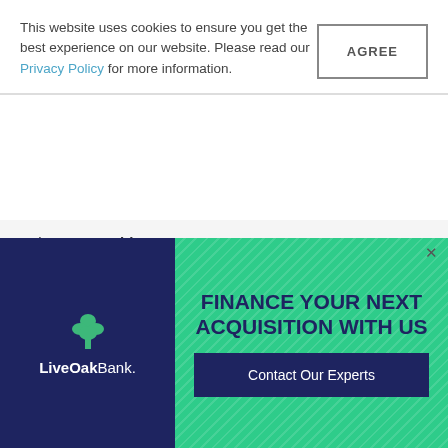This website uses cookies to ensure you get the best experience on our website. Please read our Privacy Policy for more information.
AGREE
Sale status: sold
Click here for additional accounting practices for sale in CALIFORNIA or for other CPA firms for sale in CALIFORNIA
RESOURCES
[Figure (infographic): LiveOak Bank advertisement banner with navy blue left panel showing LiveOak Bank logo with tree icon, and green right panel with diagonal stripe pattern, text FINANCE YOUR NEXT ACQUISITION WITH US and a Contact Our Experts button. Close X button in top right.]